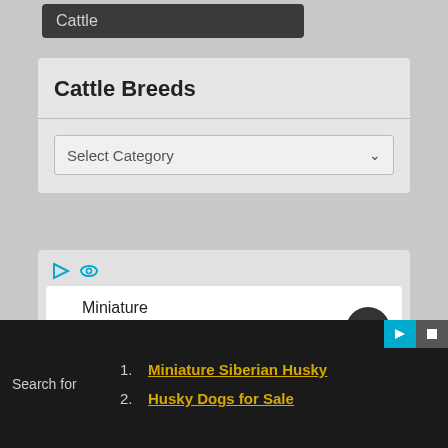Cattle
Cattle Breeds
Select Category
Miniature Siberian Husky
Husky Dogs For Sale
Search for
1. Miniature Siberian Husky
2. Husky Dogs for Sale